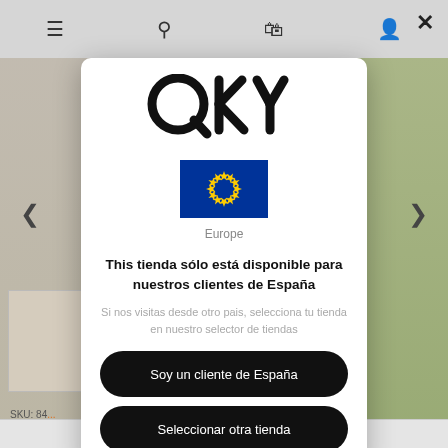[Figure (screenshot): QKY store website screenshot background showing navigation bar with menu, search, cart, and profile icons, product images in background (green garment, thumbnails), and a modal popup overlay]
[Figure (logo): QKY brand logo in large bold black letters]
[Figure (illustration): European Union flag - blue rectangle with 12 yellow stars in a circle]
Europe
This tienda sólo está disponible para nuestros clientes de España
Si nos visitas desde otro pais, selecciona tu tienda en nuestro selector de tiendas
Soy un cliente de España
Seleccionar otra tienda